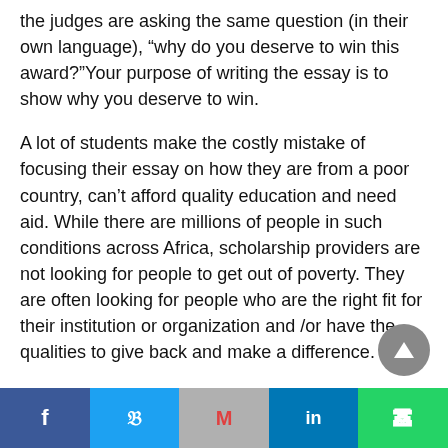the judges are asking the same question (in their own language), “why do you deserve to win this award?”Your purpose of writing the essay is to show why you deserve to win.
A lot of students make the costly mistake of focusing their essay on how they are from a poor country, can’t afford quality education and need aid. While there are millions of people in such conditions across Africa, scholarship providers are not looking for people to get out of poverty. They are often looking for people who are the right fit for their institution or organization and /or have the qualities to give back and make a difference.
Facebook | Twitter | Gmail | LinkedIn | WhatsApp